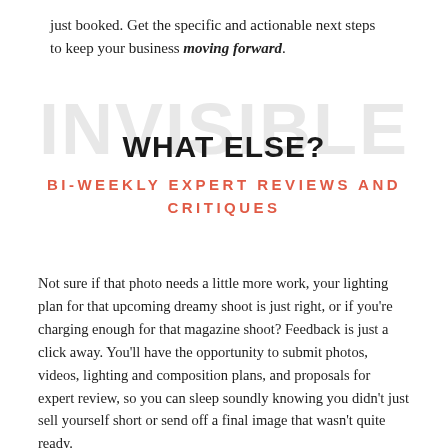just booked. Get the specific and actionable next steps to keep your business moving forward.
WHAT ELSE?
BI-WEEKLY EXPERT REVIEWS AND CRITIQUES
Not sure if that photo needs a little more work, your lighting plan for that upcoming dreamy shoot is just right, or if you're charging enough for that magazine shoot? Feedback is just a click away. You'll have the opportunity to submit photos, videos, lighting and composition plans, and proposals for expert review, so you can sleep soundly knowing you didn't just sell yourself short or send off a final image that wasn't quite ready.